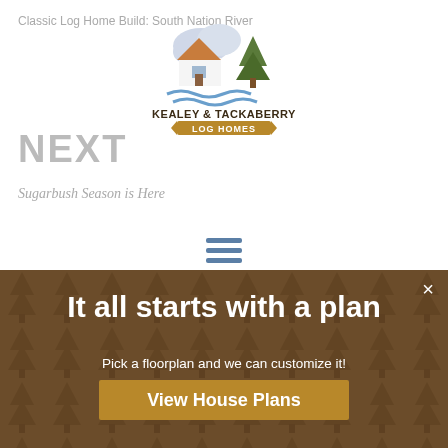Classic Log Home Build: South Nation River
[Figure (logo): Kealey & Tackaberry Log Homes logo with house and pine tree illustration]
NEXT
Sugarbush Season is Here
[Figure (other): Hamburger menu icon with three horizontal blue lines]
Leave a Reply
Enter your comment here...
×
It all starts with a plan
Pick a floorplan and we can customize it!
View House Plans